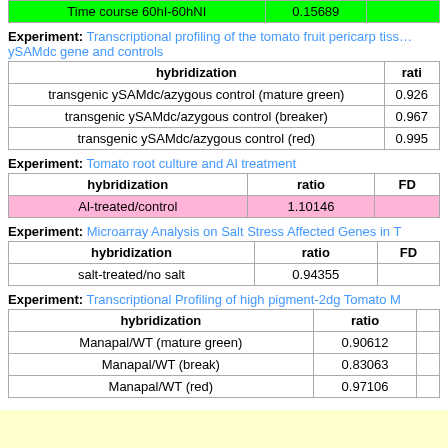| hybridization | ratio |
| --- | --- |
| Time course 60hI-60hNI | 0.15689 |
Experiment: Transcriptional profiling of the tomato fruit pericarp tissue with ySAMdc gene and controls
| hybridization | ratio |
| --- | --- |
| transgenic ySAMdc/azygous control (mature green) | 0.926 |
| transgenic ySAMdc/azygous control (breaker) | 0.967 |
| transgenic ySAMdc/azygous control (red) | 0.995 |
Experiment: Tomato root culture and Al treatment
| hybridization | ratio | FD |
| --- | --- | --- |
| Al-treated/control | 1.10146 |  |
Experiment: Microarray Analysis on Salt Stress Affected Genes in T
| hybridization | ratio | FD |
| --- | --- | --- |
| salt-treated/no salt | 0.94355 |  |
Experiment: Transcriptional Profiling of high pigment-2dg Tomato M
| hybridization | ratio |
| --- | --- |
| Manapal/WT (mature green) | 0.90612 |  |
| Manapal/WT (break) | 0.83063 |  |
| Manapal/WT (red) | 0.97106 |  |